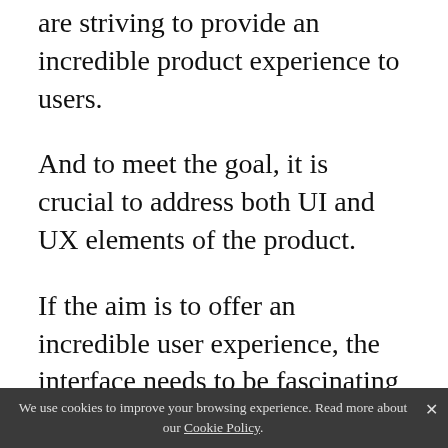are striving to provide an incredible product experience to users.
And to meet the goal, it is crucial to address both UI and UX elements of the product.
If the aim is to offer an incredible user experience, the interface needs to be fascinating too.
Stay tuned with us, to know the subtle differences between the two concepts, in our next article.
We use cookies to improve your browsing experience. Read more about our Cookie Policy.